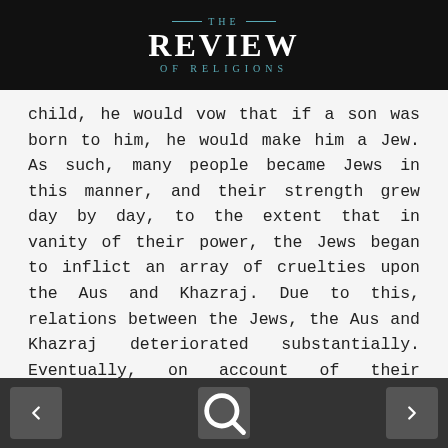THE REVIEW OF RELIGIONS
child, he would vow that if a son was born to him, he would make him a Jew. As such, many people became Jews in this manner, and their strength grew day by day, to the extent that in vanity of their power, the Jews began to inflict an array of cruelties upon the Aus and Khazraj. Due to this, relations between the Jews, the Aus and Khazraj deteriorated substantially. Eventually, on account of their frustration, the latter tribes had the eminent leaders from among the Jews cunningly murdered with the assistance of the leader of the state of Ghassan. The inevitable outcome of this was that the Jews lost their strength, and
< search >